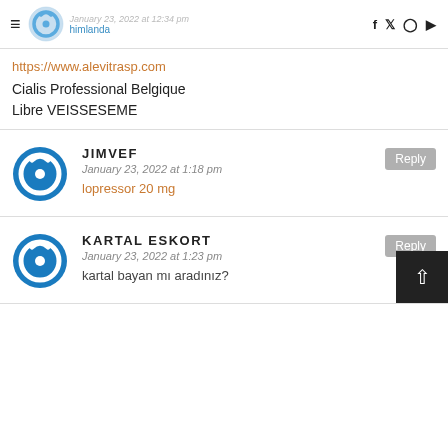himlanda | January 23, 2022 at 12:34 pm | social icons: f, twitter, instagram, youtube
himlanda
https://www.alevitrasp.com
Cialis Professional Belgique Libre VEISSESEME
JIMVEF
January 23, 2022 at 1:18 pm
lopressor 20 mg
KARTAL ESKORT
January 23, 2022 at 1:23 pm
kartal bayan mı aradınız?